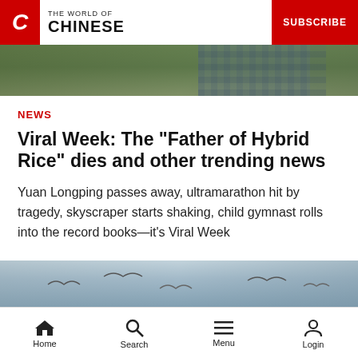THE WORLD OF CHINESE | SUBSCRIBE
[Figure (photo): Top hero image showing a person in a rice field, green crops visible]
NEWS
Viral Week: The "Father of Hybrid Rice" dies and other trending news
Yuan Longping passes away, ultramarathon hit by tragedy, skyscraper starts shaking, child gymnast rolls into the record books—it's Viral Week
[Figure (photo): Bottom image strip showing birds in flight against a sky background]
Home  Search  Menu  Login